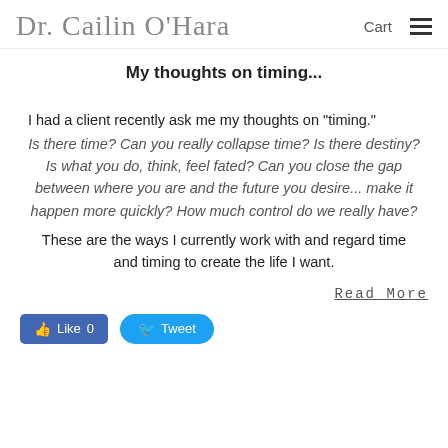Dr. Cailin O'Hara  Cart  ☰
My thoughts on timing...
I had a client recently ask me my thoughts on "timing." Is there time? Can you really collapse time? Is there destiny? Is what you do, think, feel fated? Can you close the gap between where you are and the future you desire... make it happen more quickly? How much control do we really have?
These are the ways I currently work with and regard time and timing to create the life I want.
Read More
👍 Like 0   Tweet